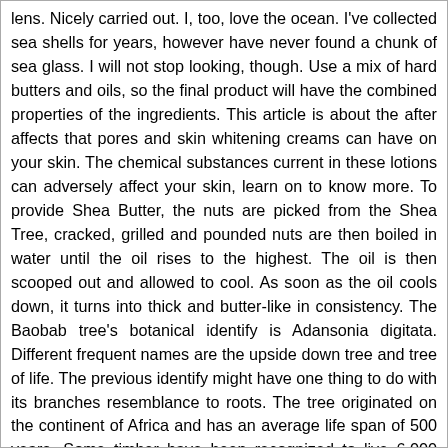lens. Nicely carried out. I, too, love the ocean. I've collected sea shells for years, however have never found a chunk of sea glass. I will not stop looking, though. Use a mix of hard butters and oils, so the final product will have the combined properties of the ingredients. This article is about the after affects that pores and skin whitening creams can have on your skin. The chemical substances current in these lotions can adversely affect your skin, learn on to know more. To provide Shea Butter, the nuts are picked from the Shea Tree, cracked, grilled and pounded nuts are then boiled in water until the oil rises to the highest. The oil is then scooped out and allowed to cool. As soon as the oil cools down, it turns into thick and butter-like in consistency. The Baobab tree's botanical identify is Adansonia digitata. Different frequent names are the upside down tree and tree of life. The previous identify might have one thing to do with its branches resemblance to roots. The tree originated on the continent of Africa and has an average life span of 500 years. Some timber have been recognized to live 6,000 years. It reaches a peak of sixty six ft and has a quite thick trunk. There are six species of Baobab vegetation. Fruits,